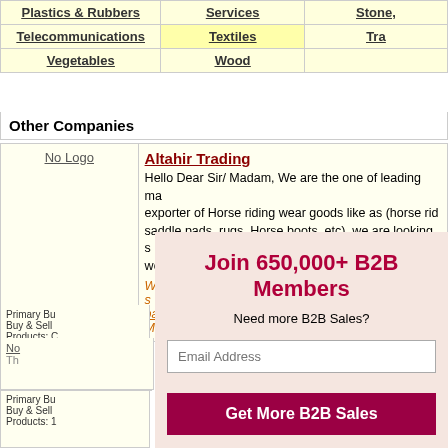Plastics & Rubbers | Services | Stone, | Telecommunications | Textiles | Tra | Vegetables | Wood
Other Companies
| Logo | Company Info |
| --- | --- |
| No Logo | Altahir Trading
Hello Dear Sir/ Madam, We are the one of leading ma... exporter of Horse riding wear goods like as (horse rid... saddle pads, rugs, Horse boots, etc). we are looking s... worthy importer, buyer...
We are regularly Selling: jacket, gloves, caps, rugs, s... pads, chaps, horse boots.
Member since 4 July, 2008, Pakistan - Punjab |
Primary Bu... Buy & Sell... Products: C
[Figure (infographic): Join 650,000+ B2B Members promotional overlay with email input and Get More B2B Sales button]
Primary Bu... Buy & Sell... Products: 1